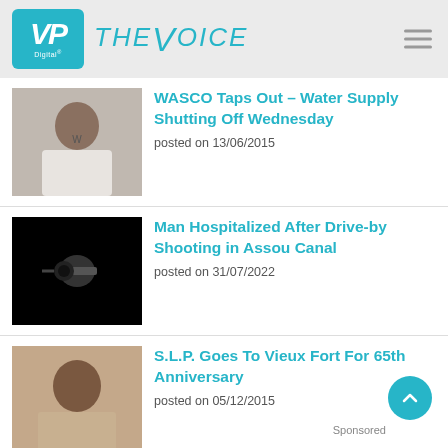[Figure (logo): VP Digital logo with teal background and The Voice text in teal]
[Figure (photo): Portrait of a man, newspaper article thumbnail for WASCO story]
WASCO Taps Out – Water Supply Shutting Off Wednesday
posted on 13/06/2015
[Figure (photo): Dark image showing a gun, thumbnail for drive-by shooting story]
Man Hospitalized After Drive-by Shooting in Assou Canal
posted on 31/07/2022
[Figure (photo): Portrait of a man in uniform, thumbnail for SLP anniversary story]
S.L.P. Goes To Vieux Fort For 65th Anniversary
posted on 05/12/2015
Sponsored